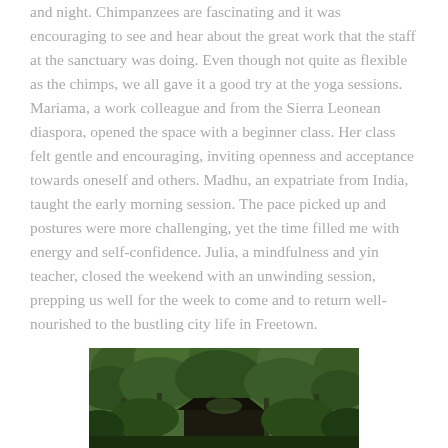and night. Chimpanzees are fascinating and it was encouraging to see and hear about the great work that the staff at the sanctuary was doing. Even though not quite as flexible as the chimps, we all gave it a good try at the yoga sessions. Mariama, a work colleague and from the Sierra Leonean diaspora, opened the space with a beginner class. Her class felt gentle and encouraging, inviting openness and acceptance towards oneself and others. Madhu, an expatriate from India, taught the early morning session. The pace picked up and postures were more challenging, yet the time filled me with energy and self-confidence. Julia, a mindfulness and yin teacher, closed the weekend with an unwinding session, prepping us well for the week to come and to return well-nourished to the bustling city life in Freetown.
[Figure (photo): A forest scene with lush green trees and a dark-roofed structure partially visible among the foliage.]